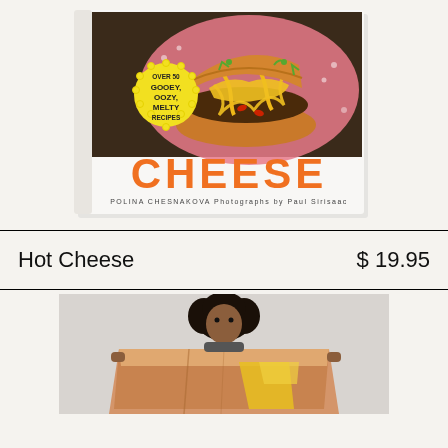[Figure (photo): Book cover of 'Cheese' by Polina Chesnakova with photographs by Paul Sirisaac. Cover shows a cheesy burger/sandwich on a pink plate. Yellow badge reads 'Over 50 Gooey, Oozy, Melty Recipes'. Title 'CHEESE' in large orange letters.]
Hot Cheese
$ 19.95
[Figure (photo): Person with curly hair holding a large orange/tan colored folded blanket or textile with a yellow geometric design, against a light gray background.]